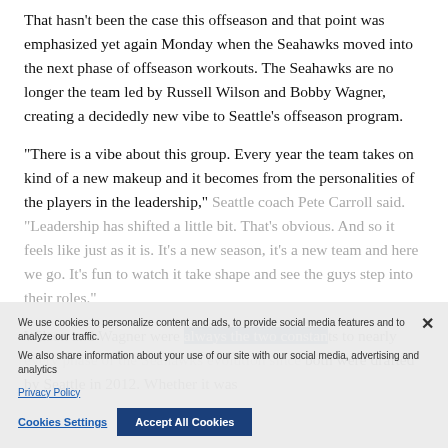That hasn't been the case this offseason and that point was emphasized yet again Monday when the Seahawks moved into the next phase of offseason workouts. The Seahawks are no longer the team led by Russell Wilson and Bobby Wagner, creating a decidedly new vibe to Seattle's offseason program.
“There is a vibe about this group. Every year the team takes on kind of a new makeup and it becomes from the personalities of the players in the leadership,” Seattle coach Pete Carroll said. “Leadership has shifted a little bit. That’s obvious. And so it feels like just as it is. It’s a new season, it’s a new team and here we go. It’s fun to watch it take shape and see the guys step into their roles.”
Wilson and Wagner were always the two constants to nearly every phase of the Seahawks evolution since both were drafted by Seattle in 2012. Whether it was